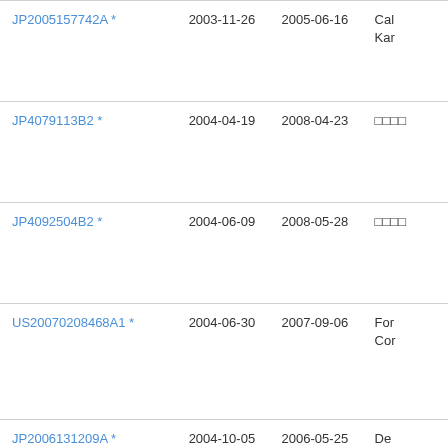| Patent | Filing Date | Publication Date | Assignee |
| --- | --- | --- | --- |
| JP2005157742A * | 2003-11-26 | 2005-06-16 | Cal Kar |
| JP4079113B2 * | 2004-04-19 | 2008-04-23 | □□□□ |
| JP4092504B2 * | 2004-06-09 | 2008-05-28 | □□□□ |
| US20070208468A1 * | 2004-06-30 | 2007-09-06 | For Cor |
| JP2006131209A * | 2004-10-05 | 2006-05-25 | De |
| JP2006254770A * | 2005-03-16 | 2006-09-28 | Yar |